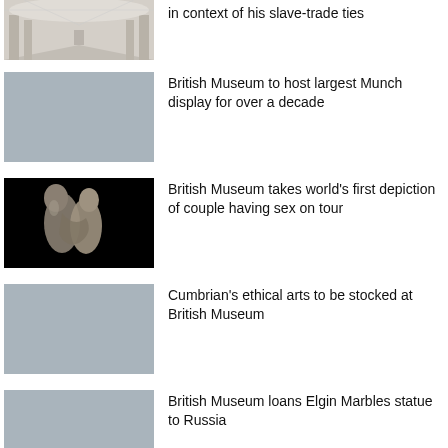in context of his slave-trade ties
[Figure (photo): Interior view of a grand museum hall with columns and a glass ceiling]
British Museum to host largest Munch display for over a decade
[Figure (photo): Grey placeholder image for Munch display article]
British Museum takes world's first depiction of couple having sex on tour
[Figure (photo): Stone sculpture on black background showing two entwined figures]
Cumbrian's ethical arts to be stocked at British Museum
[Figure (photo): Grey placeholder image for Cumbrian's ethical arts article]
British Museum loans Elgin Marbles statue to Russia
[Figure (photo): Grey placeholder image for Elgin Marbles article]